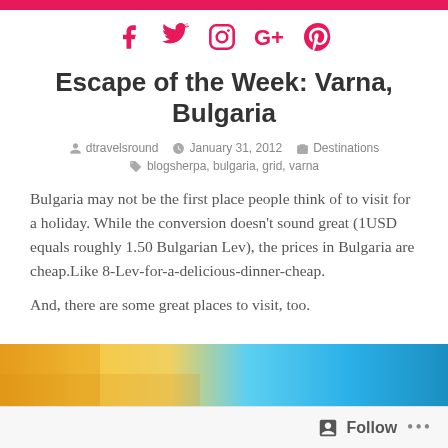Social icons: Facebook, Twitter, Instagram, Google+, Pinterest
Escape of the Week: Varna, Bulgaria
dtravelsround  January 31, 2012  Destinations  blogsherpa, bulgaria, grid, varna
Bulgaria may not be the first place people think of to visit for a holiday. While the conversion doesn't sound great (1USD equals roughly 1.50 Bulgarian Lev), the prices in Bulgaria are cheap.Like 8-Lev-for-a-delicious-dinner-cheap.
And, there are some great places to visit, too.
[Figure (photo): Colorful photo strip at the bottom of the page showing yellow and blue colors]
Follow  ...